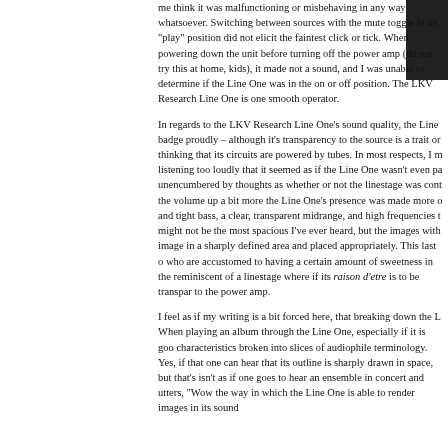[Figure (photo): Dark photo partially visible in top right corner]
me think it was malfunctioning or misbehaving in any way whatsoever. Switching between sources with the mute toggle in its "play" position did not elicit the faintest click or tick. When powering down the unit before turning off the power amp (do not try this at home, kids), it made not a sound, and I was unable to determine if the Line One was in the on or off position. The LKV Research Line One is one smooth operator.
In regards to the LKV Research Line One's sound quality, the Line badge proudly – although it's transparency to the source is a trait or thinking that its circuits are powered by tubes. In most respects, I m listening too loudly that it seemed as if the Line One wasn't even pa unencumbered by thoughts as whether or not the linestage was cont the volume up a bit more the Line One's presence was made more o and tight bass, a clear, transparent midrange, and high frequencies t might not be the most spacious I've ever heard, but the images with image in a sharply defined area and placed appropriately. This last o who are accustomed to having a certain amount of sweetness in the reminiscent of a linestage where if its raison d'etre is to be transpare to the power amp.
I feel as if my writing is a bit forced here, that breaking down the L When playing an album through the Line One, especially if it is goo characteristics broken into slices of audiophile terminology. Yes, if that one can hear that its outline is sharply drawn in space, but that's isn't as if one goes to hear an ensemble in concert and utters, "Wow the way in which the Line One is able to render images in its sound
joy the Music.